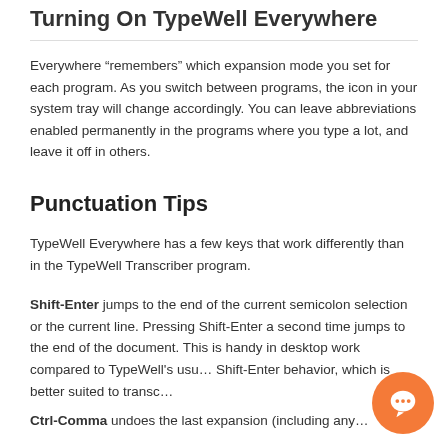Turning On TypeWell Everywhere
Everywhere “remembers” which expansion mode you set for each program. As you switch between programs, the icon in your system tray will change accordingly. You can leave abbreviations enabled permanently in the programs where you type a lot, and leave it off in others.
Punctuation Tips
TypeWell Everywhere has a few keys that work differently than in the TypeWell Transcriber program.
Shift-Enter jumps to the end of the current semicolon selection or the current line. Pressing Shift-Enter a second time jumps to the end of the document. This is handy in desktop work compared to TypeWell’s usual Shift-Enter behavior, which is better suited to transc…
Ctrl-Comma undoes the last expansion (including any…